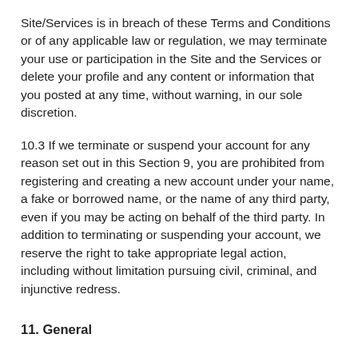Site/Services is in breach of these Terms and Conditions or of any applicable law or regulation, we may terminate your use or participation in the Site and the Services or delete your profile and any content or information that you posted at any time, without warning, in our sole discretion.
10.3 If we terminate or suspend your account for any reason set out in this Section 9, you are prohibited from registering and creating a new account under your name, a fake or borrowed name, or the name of any third party, even if you may be acting on behalf of the third party. In addition to terminating or suspending your account, we reserve the right to take appropriate legal action, including without limitation pursuing civil, criminal, and injunctive redress.
11. General